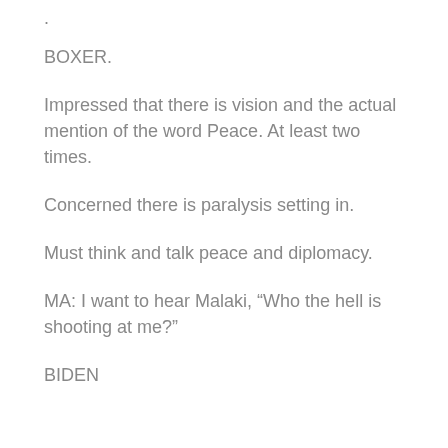.
BOXER.
Impressed that there is vision and the actual mention of the word Peace. At least two times.
Concerned there is paralysis setting in.
Must think and talk peace and diplomacy.
MA: I want to hear Malaki, “Who the hell is shooting at me?”
BIDEN